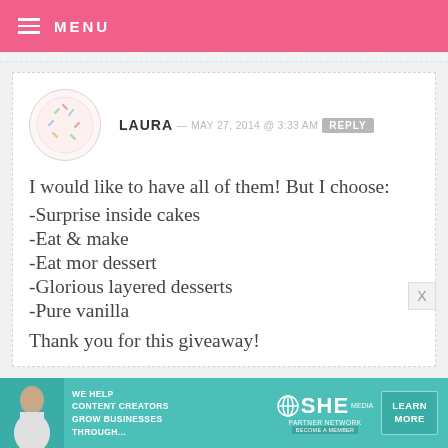MENU
LAURA — MAY 27, 2014 @ 3:33 AM   REPLY
I would like to have all of them! But I choose:
-Surprise inside cakes
-Eat & make
-Eat mor dessert
-Glorious layered desserts
-Pure vanilla
Thank you for this giveaway!
[Figure (infographic): SHE Media partner network advertisement banner with woman photo, text 'WE HELP CONTENT CREATORS GROW BUSINESSES THROUGH...' and 'LEARN MORE' button]